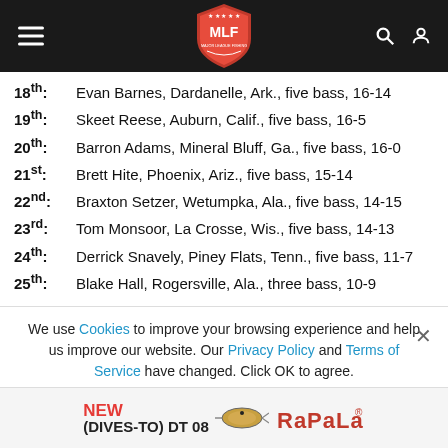MLF Major League Fishing navigation bar
18th: Evan Barnes, Dardanelle, Ark., five bass, 16-14
19th: Skeet Reese, Auburn, Calif., five bass, 16-5
20th: Barron Adams, Mineral Bluff, Ga., five bass, 16-0
21st: Brett Hite, Phoenix, Ariz., five bass, 15-14
22nd: Braxton Setzer, Wetumpka, Ala., five bass, 14-15
23rd: Tom Monsoor, La Crosse, Wis., five bass, 14-13
24th: Derrick Snavely, Piney Flats, Tenn., five bass, 11-7
25th: Blake Hall, Rogersville, Ala., three bass, 10-9
We use Cookies to improve your browsing experience and help us improve our website. Our Privacy Policy and Terms of Service have changed. Click OK to agree.
[Figure (logo): Rapala NEW (DIVES-TO) DT 08 advertisement banner with fishing lure image]